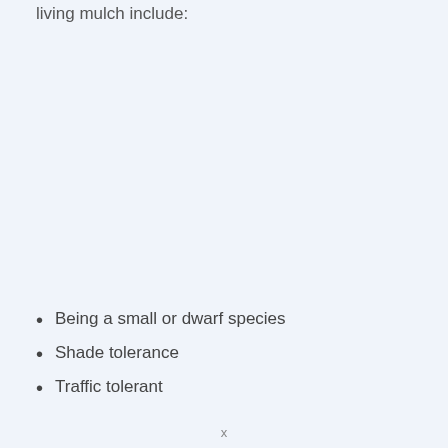living mulch include:
Being a small or dwarf species
Shade tolerance
Traffic tolerant
x